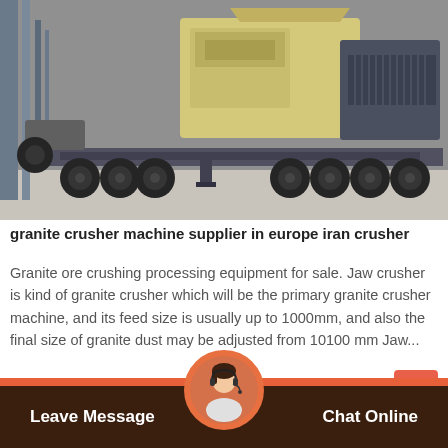[Figure (photo): Mobile granite crusher machine on a truck trailer inside an industrial facility. The machine has a large yellow/beige crushing unit mounted on a heavy-duty flatbed trailer with multiple axles and large tires.]
granite crusher machine supplier in europe iran crusher
Granite ore crushing processing equipment for sale. Jaw crusher is kind of granite crusher which will be the primary granite crusher machine, and its feed size is usually up to 1000mm, and also the final size of granite dust may be adjusted from 10100 mm Jaw...